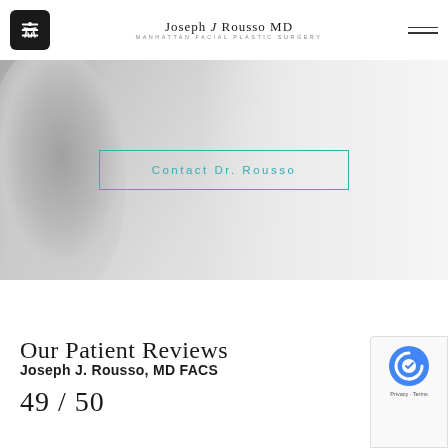Joseph J Rousso MD — Manhattan Facial Plastic Surgery
[Figure (screenshot): Hero banner with blurred background photo of a face/person in gray tones, with a teal-bordered button labeled 'Contact Dr. Rousso']
Our Patient Reviews
Joseph J. Rousso, MD FACS
49 / 50
[Figure (logo): Google reCAPTCHA badge with blue circular logo and 'Privacy - Terms' text]